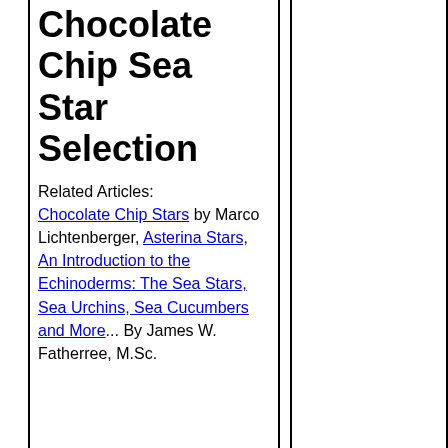Chocolate Chip Sea Star Selection
Related Articles: Chocolate Chip Stars by Marco Lichtenberger, Asterina Stars, An Introduction to the Echinoderms: The Sea Stars, Sea Urchins, Sea Cucumbers and More... By James W. Fatherree, M.Sc.